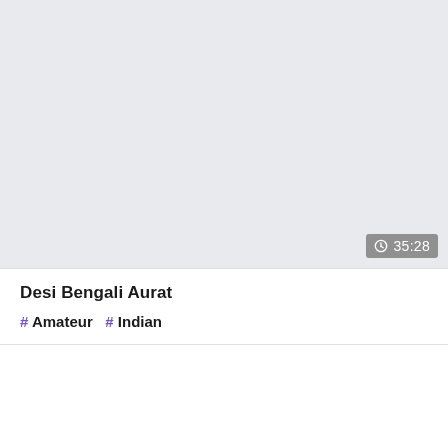[Figure (screenshot): Video thumbnail placeholder with light gray background and duration badge showing 35:28]
Desi Bengali Aurat
# Amateur # Indian
[Figure (other): Light gray background area at bottom with purple scroll-to-top button in bottom-right corner]